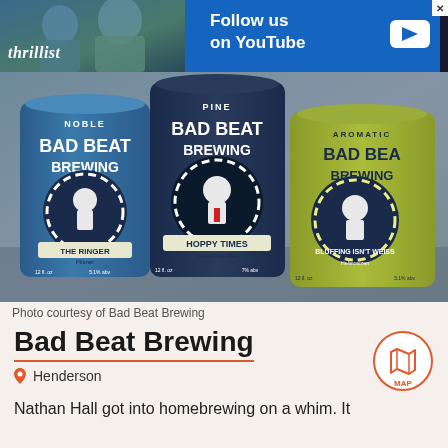[Figure (photo): Thrillist ad banner with photo of people and YouTube follow us call to action on blue background]
[Figure (photo): Three cans of Bad Beat Brewing beer: The Ringer Pilsner (blue can), Hoppy Times India Pale Ale (dark can), and Bluffing Isn't Weiss Hefeweizen (yellow-green can), placed on a surface outdoors]
Photo courtesy of Bad Beat Brewing
Bad Beat Brewing
Henderson
Nathan Hall got into homebrewing on a whim. It